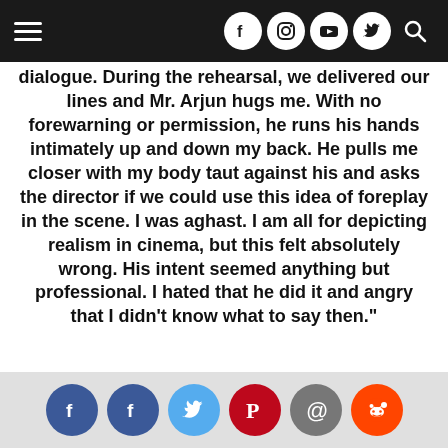[Navigation bar with menu icon and social media icons: Facebook, Instagram, YouTube, Twitter, Search]
dialogue. During the rehearsal, we delivered our lines and Mr. Arjun hugs me. With no forewarning or permission, he runs his hands intimately up and down my back. He pulls me closer with my body taut against his and asks the director if we could use this idea of foreplay in the scene. I was aghast. I am all for depicting realism in cinema, but this felt absolutely wrong. His intent seemed anything but professional. I hated that he did it and angry that I didn’t know what to say then.”
[Social share icons: Facebook, Facebook, Twitter, Pinterest, Email, Reddit]